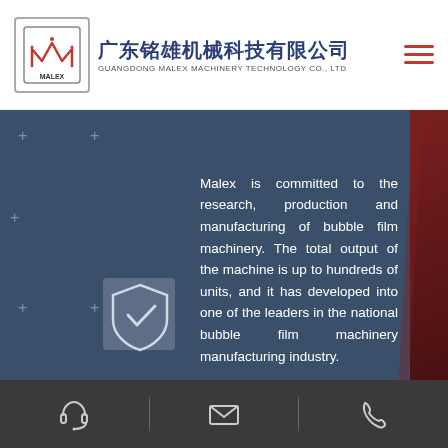广东铭雄机械科技有限公司 GUANGDONG MALEX MACHINERY TECHNOLOGY CO., LTD
Malex is committed to the research, production and manufacturing of bubble film machinery. The total output of the machine is up to hundreds of units, and it has developed into one of the leaders in the national bubble film machinery manufacturing industry.
Reliable and stable quality
Introduce famous foreign brands: Siemens, ABB, B&R, Xinke, Schneider, Fotek, Delta and other electrical accessories, with more durable equipment production and operation life; high quality requirements of cast iron originals, standardized production process,
Contact icons: headset, email, phone